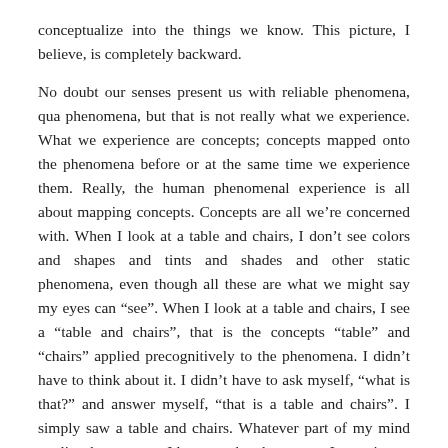conceptualize into the things we know. This picture, I believe, is completely backward.
No doubt our senses present us with reliable phenomena, qua phenomena, but that is not really what we experience. What we experience are concepts; concepts mapped onto the phenomena before or at the same time we experience them. Really, the human phenomenal experience is all about mapping concepts. Concepts are all we're concerned with. When I look at a table and chairs, I don't see colors and shapes and tints and shades and other static phenomena, even though all these are what we might say my eyes can “see”. When I look at a table and chairs, I see a “table and chairs”, that is the concepts “table” and “chairs” applied precognitively to the phenomena. I didn’t have to think about it. I didn’t have to ask myself, “what is that?” and answer myself, “that is a table and chairs”. I simply saw a table and chairs. Whatever part of my mind applies the concepts I know to the phenomena I experience, does so